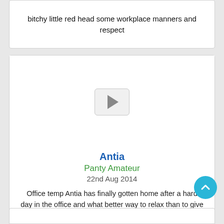bitchy little red head some workplace manners and respect
[Figure (other): Video player placeholder with play button icon]
Antia
Panty Amateur
22nd Aug 2014
Office temp Antia has finally gotten home after a hard day in the office and what better way to relax than to give all her adoring panty loving fans a very nice tease as she lifts her skirt to reveal her stocking tops and knickers